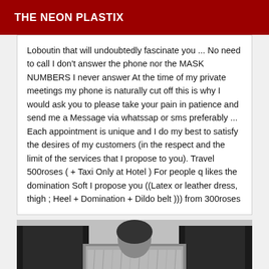THE NEON PLASTIX
Loboutin that will undoubtedly fascinate you ... No need to call I don't answer the phone nor the MASK NUMBERS I never answer At the time of my private meetings my phone is naturally cut off this is why I would ask you to please take your pain in patience and send me a Message via whatssap or sms preferably ... Each appointment is unique and I do my best to satisfy the desires of my customers (in the respect and the limit of the services that I propose to you). Travel 500roses ( + Taxi Only at Hotel ) For people q likes the domination Soft I propose you ((Latex or leather dress, thigh ; Heel + Domination + Dildo belt ))) from 300roses
[Figure (photo): Black and white photograph of people, appears to show figures in dark clothing with a fur-clad person in center]